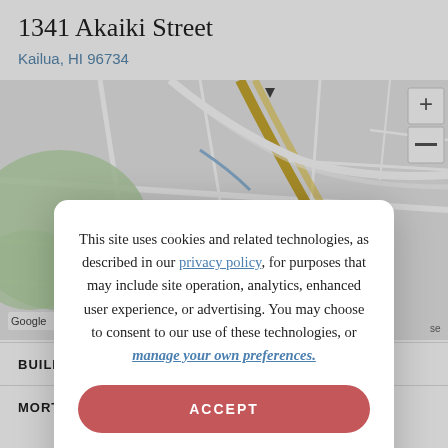1341 Akaiki Street
Kailua, HI 96734
[Figure (map): Google Maps view showing street map of Kailua, HI area near 1341 Akaiki Street, with yellow road, green park area, and blue waterway visible. Map controls include + and - zoom buttons in top right.]
BUILDING
MORTGAG
This site uses cookies and related technologies, as described in our privacy policy, for purposes that may include site operation, analytics, enhanced user experience, or advertising. You may choose to consent to our use of these technologies, or manage your own preferences.
ACCEPT
DECLINE